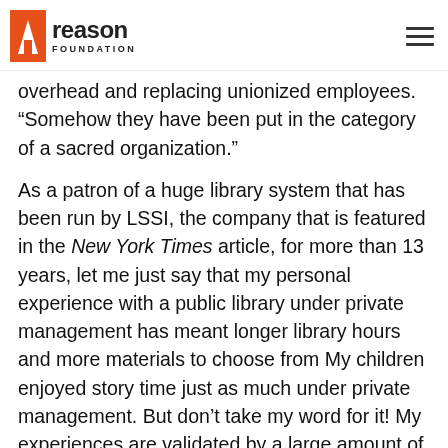reason FOUNDATION
overhead and replacing unionized employees. “Somehow they have been put in the category of a sacred organization.”
As a patron of a huge library system that has been run by LSSI, the company that is featured in the New York Times article, for more than 13 years, let me just say that my personal experience with a public library under private management has meant longer library hours and more materials to choose from My children enjoyed story time just as much under private management. But don’t take my word for it! My experiences are validated by a large amount of outcome data that was recently